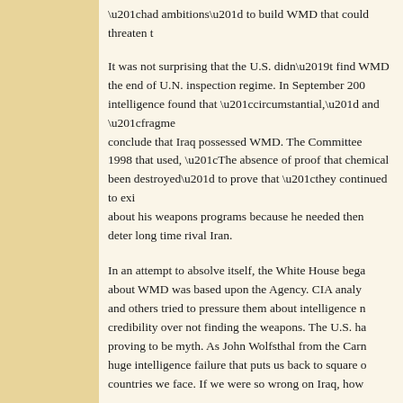“had ambitions” to build WMD that could threaten t…
It was not surprising that the U.S. didn’t find WMD… the end of U.N. inspection regime. In September 200… intelligence found that “circumstantial,” and “fragme… conclude that Iraq possessed WMD. The Committee… 1998 that used, “The absence of proof that chemical… been destroyed” to prove that “they continued to exi… about his weapons programs because he needed them… deter long time rival Iran.
In an attempt to absolve itself, the White House bega… about WMD was based upon the Agency. CIA analy… and others tried to pressure them about intelligence r… credibility over not finding the weapons. The U.S. h… proving to be myth. As John Wolfsthal from the Car… huge intelligence failure that puts us back to square … countries we face. If we were so wrong on Iraq, how…